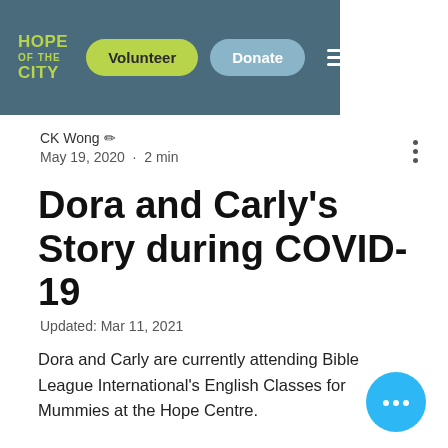Hope of the City — Volunteer | Donate
CK Wong
May 19, 2020 · 2 min
Dora and Carly's Story during COVID-19
Updated: Mar 11, 2021
Dora and Carly are currently attending Bible League International's English Classes for Mummies at the Hope Centre.